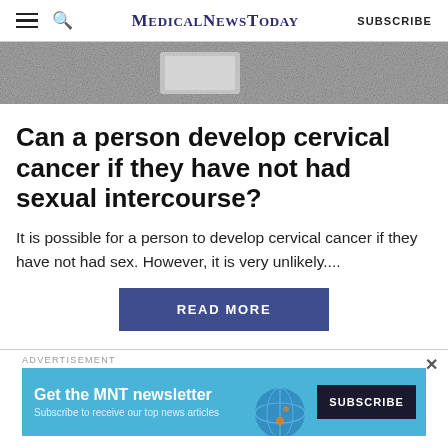MedicalNewsToday  SUBSCRIBE
[Figure (photo): Close-up photo of textured grey surface, possibly a tablet or book on a granular background]
Can a person develop cervical cancer if they have not had sexual intercourse?
It is possible for a person to develop cervical cancer if they have not had sex. However, it is very unlikely....
READ MORE
ADVERTISEMENT
[Figure (infographic): MNT newsletter advertisement banner: 'Get the MNT newsletter — Subscribe to receive our top news articles' with a SUBSCRIBE button and globe graphic]